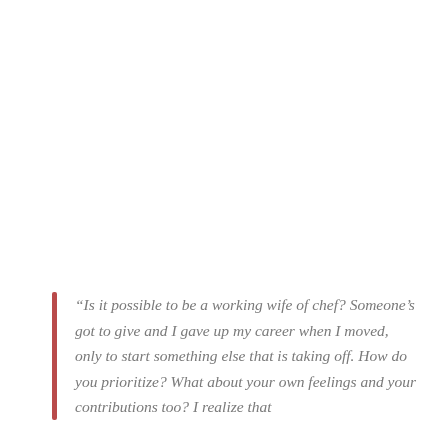“Is it possible to be a working wife of chef? Someone’s got to give and I gave up my career when I moved, only to start something else that is taking off. How do you prioritize? What about your own feelings and your contributions too? I realize that